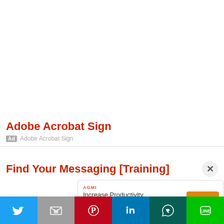[Figure (screenshot): White empty top section of a webpage, approximately 230px tall]
Adobe Acrobat Sign
Ad  Adobe Acrobat Sign
Find Your Messaging [Training]
[Figure (screenshot): Mobile banner ad: logo for AGMI/Remi, text 'Increase Productivity with STRUMIS', orange OPEN button]
[Figure (infographic): Social sharing bar with Twitter, Gmail, Pinterest, LinkedIn, WhatsApp, and LINE buttons]